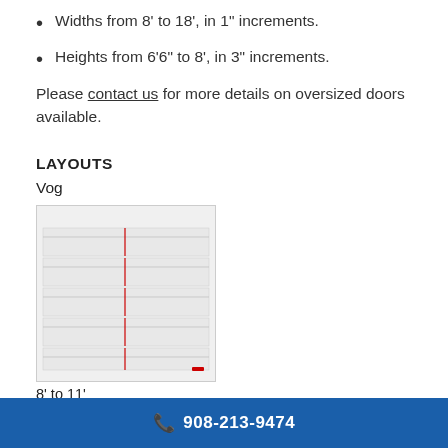Widths from 8' to 18', in 1" increments.
Heights from 6'6" to 8', in 3" increments.
Please contact us for more details on oversized doors available.
LAYOUTS
Vog
[Figure (illustration): Diagram of a Vog garage door panel layout showing horizontal rails with a vertical divider, rendered in light gray with red accent mark at bottom]
8' to 11'
908-213-9474